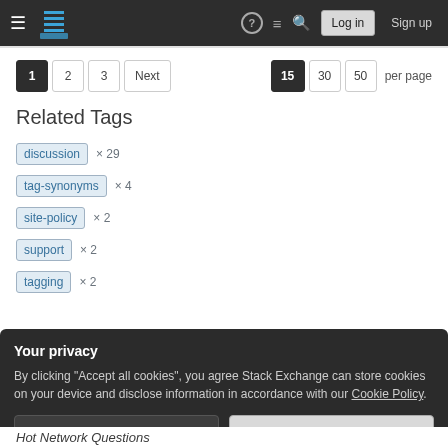Stack Exchange navigation bar with hamburger menu, logo, help, chat, search icons, Log in and Sign up buttons
1 2 3 Next | 15 30 50 per page
Related Tags
discussion × 29
tag-synonyms × 4
site-policy × 2
support × 2
tagging × 2
Your privacy
By clicking "Accept all cookies", you agree Stack Exchange can store cookies on your device and disclose information in accordance with our Cookie Policy.
Accept all cookies   Customize settings
Hot Network Questions